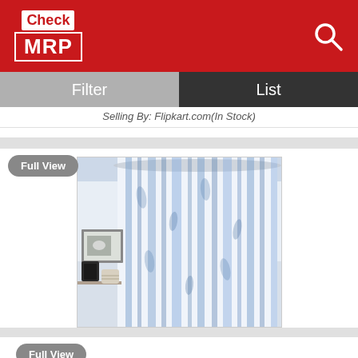Check MRP
Filter | List
Selling By: Flipkart.com(In Stock)
Full View
[Figure (photo): Blue and white printed PVC door curtain hanging in a bathroom setting]
Rs. 495/-
CASA Furnishing 274.1 cm (9 ft) PVC Door Curtain (Pack Of 2)(Printed, Blue)
Selling By: Flipkart.com(In Stock)
Full View